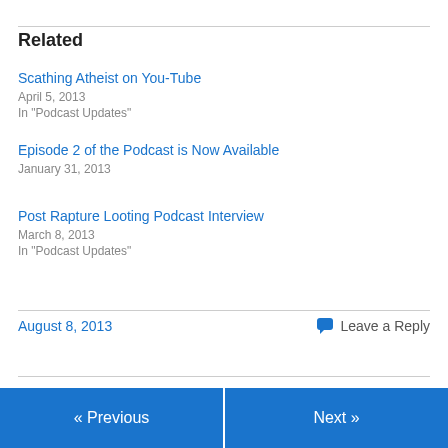Related
Scathing Atheist on You-Tube
April 5, 2013
In "Podcast Updates"
Episode 2 of the Podcast is Now Available
January 31, 2013
Post Rapture Looting Podcast Interview
March 8, 2013
In "Podcast Updates"
August 8, 2013
Leave a Reply
« Previous | Next »